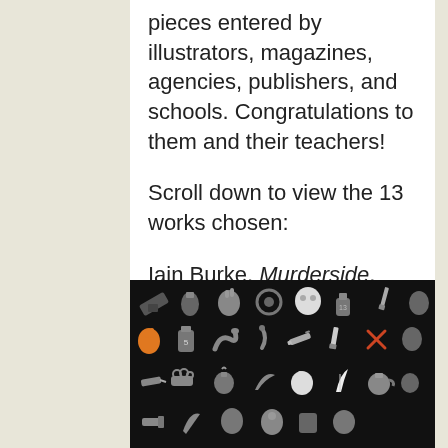pieces entered by illustrators, magazines, agencies, publishers, and schools. Congratulations to them and their teachers!
Scroll down to view the 13 works chosen:
Iain Burke, Murderside, Senior Thesis 1, Jordin Isip (faculty)
[Figure (illustration): Dark background pattern illustration with various weapon and crime-related icons in grey, white, and orange colors including guns, knives, grenades, brass knuckles, and other objects arranged in a repeating pattern.]